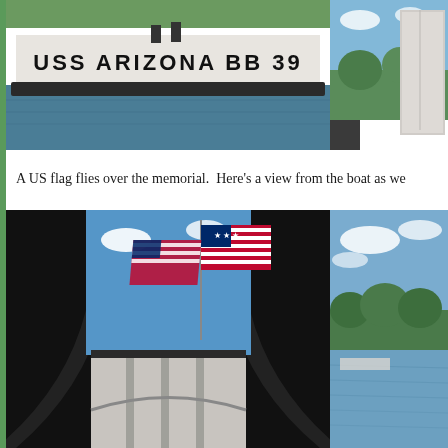[Figure (photo): Photo of USS Arizona BB 39 memorial marker floating on water, showing the white hull structure with bold text 'USS ARIZONA BB 39' painted on it, with dark water below and green foliage visible at the top]
[Figure (photo): Partial view of the USS Arizona Memorial white structure from outside, with blue sky and tropical trees visible]
A US flag flies over the memorial.  Here's a view from the boat as we
[Figure (photo): Interior view looking up through the USS Arizona Memorial's open roof, showing an American flag flying against a blue sky with clouds, framed by the memorial's curved white concrete arches]
[Figure (photo): View from a boat on the water near the USS Arizona Memorial, showing green tropical trees and a distant structure on the waterline]